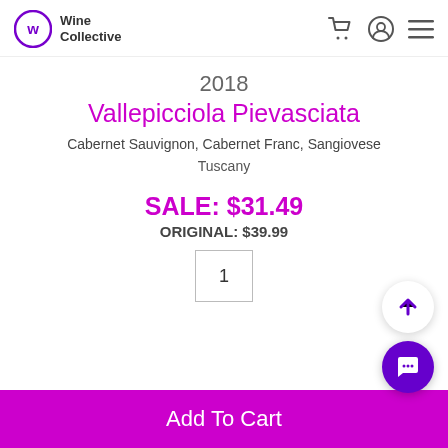Wine Collective
2018
Vallepicciola Pievasciata
Cabernet Sauvignon, Cabernet Franc, Sangiovese
Tuscany
SALE: $31.49
ORIGINAL: $39.99
1
Add To Cart